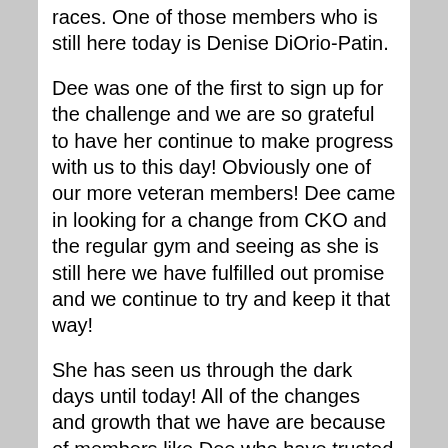races. One of those members who is still here today is Denise DiOrio-Patin.
Dee was one of the first to sign up for the challenge and we are so grateful to have her continue to make progress with us to this day! Obviously one of our more veteran members! Dee came in looking for a change from CKO and the regular gym and seeing as she is still here we have fulfilled out promise and we continue to try and keep it that way!
She has seen us through the dark days until today! All of the changes and growth that we have are because of members like Dee who have trusted the process and continued to support our community.
My message to all of you is to stay the course and find the spark that ignites the flame! You never know what is going to happen, but as long as you can stay afloat you will keep swimming!